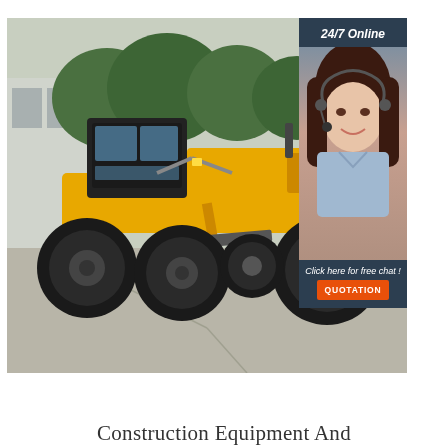[Figure (photo): Yellow motor grader / construction machine parked on a concrete surface with trees and a building in the background. Overlaid in the upper right is a dark navy panel showing a customer service representative wearing a headset, with text '24/7 Online', 'Click here for free chat!', and an orange 'QUOTATION' button.]
Construction Equipment And